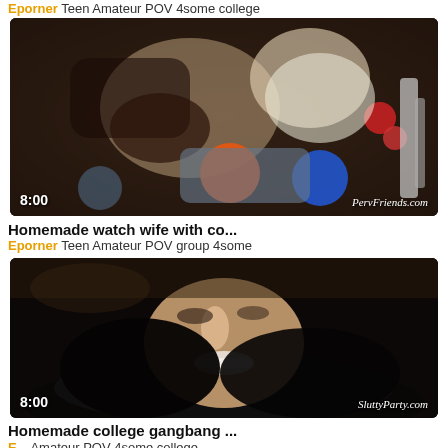Eporner Teen Amateur POV 4some college
[Figure (photo): Video thumbnail showing people with colorful balloons, duration 8:00, watermark PervFriends.com]
Homemade watch wife with co...
Eporner Teen Amateur POV group 4some
[Figure (photo): Video thumbnail showing a woman lying back with dark hair, duration 8:00, watermark SluttyParty.com]
Homemade college gangbang ...
Eporner Amateur POV 4some college